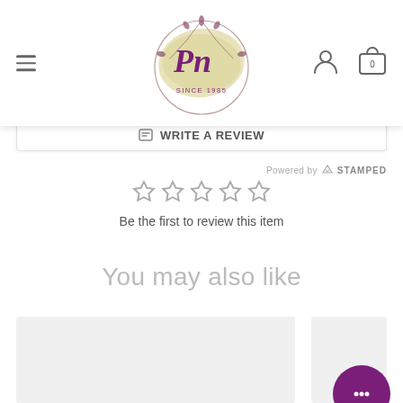[Figure (logo): PN Since 1985 floral logo with decorative script letters on a beige brushstroke background with purple floral wreath]
Write a Review
Powered by STAMPED
[Figure (illustration): Five empty gray star rating icons]
Be the first to review this item
You may also like
[Figure (illustration): Two product card placeholders (light gray boxes)]
[Figure (illustration): Purple circular chat/support button in bottom right corner]